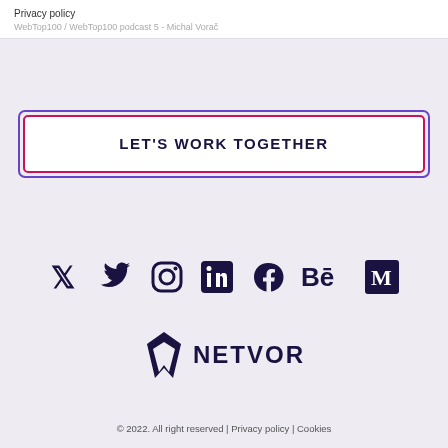Privacy policy
WebTop100 / WebTop100 podcast 5 - Michal Vorač
LET'S WORK TOGETHER
[Figure (illustration): Social media icons: Twitter, Instagram, LinkedIn, Facebook, Behance, Medium]
[Figure (logo): Netvor logo with stylized V icon and NETVOR text]
© 2022. All right reserved | Privacy policy | Cookies